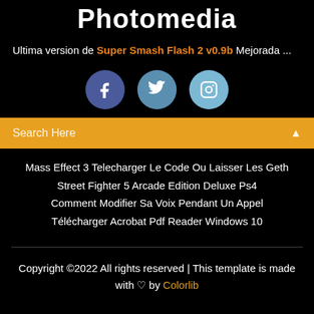Photomedia
Ultima version de Super Smash Flash 2 v0.9b Mejorada ...
[Figure (other): Three social media icon buttons: Facebook (dark blue circle), Twitter (medium blue circle), Instagram (light blue circle)]
Search Here
Mass Effect 3 Telecharger Le Code Ou Laisser Les Geth
Street Fighter 5 Arcade Edition Deluxe Ps4
Comment Modifier Sa Voix Pendant Un Appel
Télécharger Acrobat Pdf Reader Windows 10
Copyright ©2022 All rights reserved | This template is made with ♡ by Colorlib